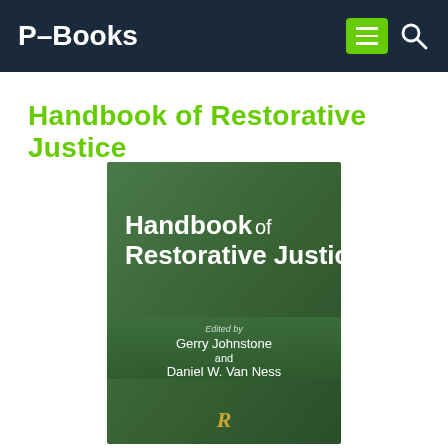P-Books
Handbook of Restorative Justice
[Figure (illustration): Book cover of 'Handbook of Restorative Justice', edited by Gerry Johnstone and Daniel W. Van Ness, dark green background with white title text and Routledge logo at bottom]